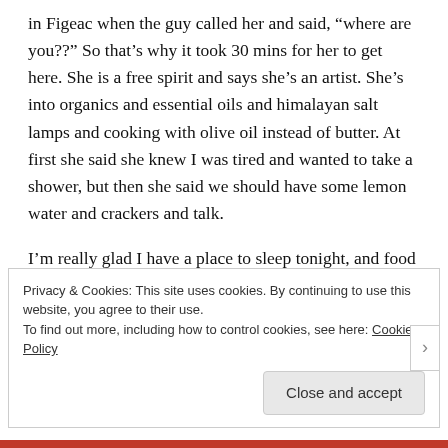in Figeac when the guy called her and said, “where are you??” So that’s why it took 30 mins for her to get here. She is a free spirit and says she’s an artist. She’s into organics and essential oils and himalayan salt lamps and cooking with olive oil instead of butter. At first she said she knew I was tired and wanted to take a shower, but then she said we should have some lemon water and crackers and talk.
I’m really glad I have a place to sleep tonight, and food for my belly.
Privacy & Cookies: This site uses cookies. By continuing to use this website, you agree to their use.
To find out more, including how to control cookies, see here: Cookie Policy